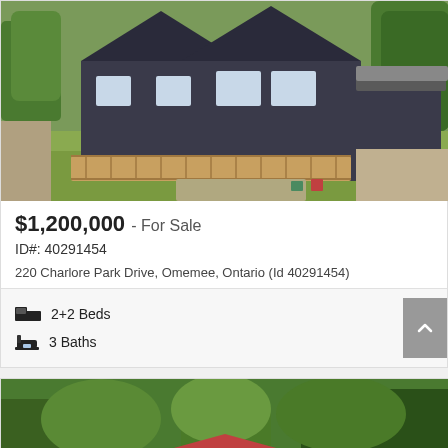[Figure (photo): Aerial drone view of a dark grey house with a large wooden deck, patio area, and a separate garage/outbuilding, surrounded by green grass and trees.]
$1,200,000 - For Sale
ID#: 40291454
220 Charlore Park Drive, Omemee, Ontario (Id 40291454)
2+2 Beds
3 Baths
[Figure (photo): Aerial view of a cottage or bungalow with a red roof surrounded by dense green trees and forest.]